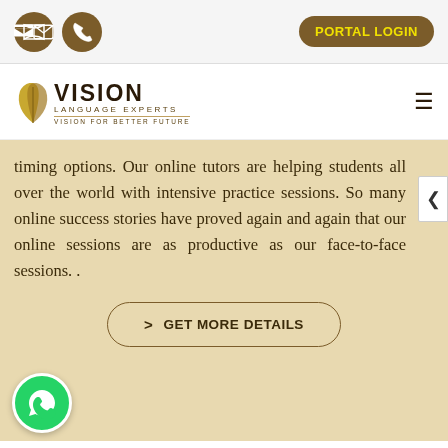PORTAL LOGIN
[Figure (logo): Vision Language Experts logo with leaf/feather icon, tagline: VISION FOR BETTER FUTURE]
timing options. Our online tutors are helping students all over the world with intensive practice sessions. So many online success stories have proved again and again that our online sessions are as productive as our face-to-face sessions. .
> GET MORE DETAILS